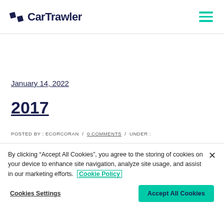CarTrawler
January 14, 2022
2017
POSTED BY : ECORCORAN / 0 COMMENTS / UNDER :
By clicking “Accept All Cookies”, you agree to the storing of cookies on your device to enhance site navigation, analyze site usage, and assist in our marketing efforts. Cookie Policy
Cookies Settings
Accept All Cookies